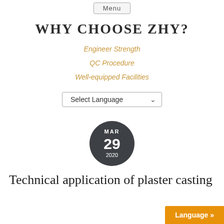Menu
WHY CHOOSE ZHY?
Engineer Strength
QC Procedure
Well-equipped Facilities
[Figure (other): Select Language dropdown widget]
[Figure (other): Dark circular date badge showing MAR 29 2020]
Technical application of plaster casting
Language »